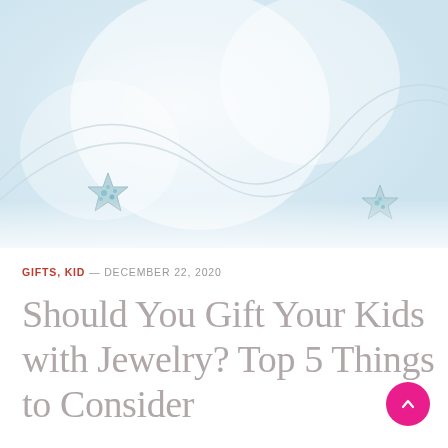[Figure (photo): Close-up photo of silver star-shaped jewelry with light blue/teal gemstones on a chain, on a soft white background]
GIFTS, KID — DECEMBER 22, 2020
Should You Gift Your Kids with Jewelry? Top 5 Things to Consider